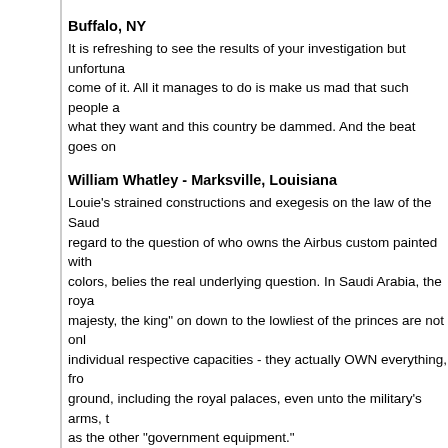Buffalo, NY
It is refreshing to see the results of your investigation but unfortunately nothing will come of it. All it manages to do is make us mad that such people are able to get what they want and this country be dammed. And the beat goes on
William Whatley - Marksville, Louisiana
Louie's strained constructions and exegesis on the law of the Saudi with regard to the question of who owns the Airbus custom painted with royal colors, belies the real underlying question. In Saudi Arabia, the royals from "his majesty, the king" on down to the lowliest of the princes are not only acting in their individual respective capacities - they actually OWN everything, from the air to the ground, including the royal palaces, even unto the military's arms, the planes, as well as the other "government equipment."
The fact that Louie says and repeatedly falls back to the implication that these Swiss bank accounts "belong" to the Kingdom of Saudi Arabia is pure fiction. It BELONGS to the signatories. The royal family, as the sovereign rulers, ARE the government property. Their very utterances or whim carry the power of law -- the rule of law -- so it would be highly unusual for any of the royals to actually go to the trouble of taking title with respect to a jetliner or for that matter any other type of property, even including such items as real estate -- the palaces. The difference between a democracy and an autocratic regime -- a royal dictatorship
Troy Goodnough - Morris, MN
I am dumbfounded by Louis Freeh's work as lawyer to Bandar. This makes me feel really naive about how our country really operates. I am one of the have-everythings. The revolving door has to close. We all need to be participants in our democracy, in creating accountability and transparency. It seems we need a bit of outrage. I guess it's easy for some, like t